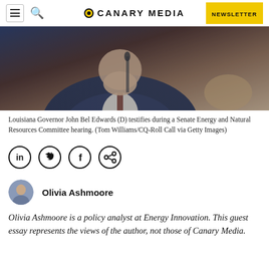CANARY MEDIA | NEWSLETTER
[Figure (photo): Louisiana Governor John Bel Edwards speaking into a microphone at a Senate hearing, wearing a dark pinstripe suit.]
Louisiana Governor John Bel Edwards (D) testifies during a Senate Energy and Natural Resources Committee hearing. (Tom Williams/CQ-Roll Call via Getty Images)
[Figure (infographic): Social media sharing icons: LinkedIn, Twitter, Facebook, and a share/copy link icon, each in a circle.]
[Figure (photo): Author avatar photo of Olivia Ashmoore.]
Olivia Ashmoore
Olivia Ashmoore is a policy analyst at Energy Innovation. This guest essay represents the views of the author, not those of Canary Media.